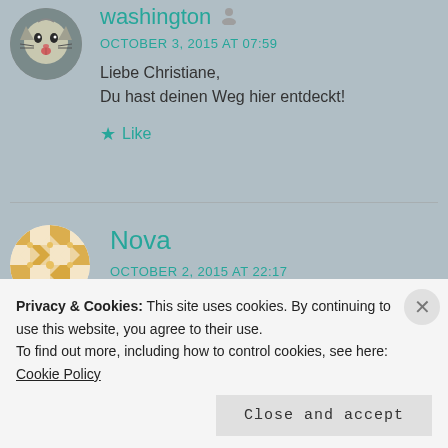[Figure (photo): Cat avatar photo, circular crop, cat making funny face]
washington
OCTOBER 3, 2015 AT 07:59
Liebe Christiane,
Du hast deinen Weg hier entdeckkt!
★ Like
[Figure (illustration): Mosaic/geometric pattern avatar, circular, gold and white diamond pattern]
Nova
OCTOBER 2, 2015 AT 22:17
Appelpie with whipped cream…..never had it with
Privacy & Cookies: This site uses cookies. By continuing to use this website, you agree to their use.
To find out more, including how to control cookies, see here: Cookie Policy
Close and accept